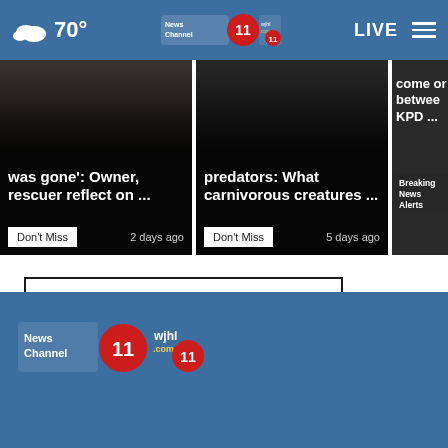70° News Channel 11 wjhl.com 11 LIVE
[Figure (screenshot): News card: 'was gone': Owner, rescuer reflect on ... Don't Miss 2 days ago]
[Figure (screenshot): News card: predators: What carnivorous creatures ... Don't Miss 5 days ago]
[Figure (screenshot): Partial news card: between KPD ... Breaking News Alerts]
View All Don't Miss ›
News Channel 11 wjhl.com 11